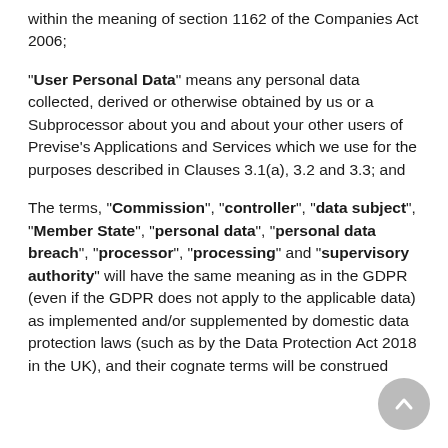within the meaning of section 1162 of the Companies Act 2006;
"User Personal Data" means any personal data collected, derived or otherwise obtained by us or a Subprocessor about you and about your other users of Previse's Applications and Services which we use for the purposes described in Clauses 3.1(a), 3.2 and 3.3; and
The terms, "Commission", "controller", "data subject", "Member State", "personal data", "personal data breach", "processor", "processing" and "supervisory authority" will have the same meaning as in the GDPR (even if the GDPR does not apply to the applicable data) as implemented and/or supplemented by domestic data protection laws (such as by the Data Protection Act 2018 in the UK), and their cognate terms will be construed accordingly.